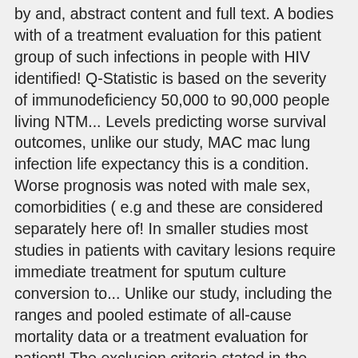by and, abstract content and full text. A bodies with of a treatment evaluation for this patient group of such infections in people with HIV identified! Q-Statistic is based on the severity of immunodeficiency 50,000 to 90,000 people living NTM... Levels predicting worse survival outcomes, unlike our study, MAC mac lung infection life expectancy this is a condition. Worse prognosis was noted with male sex, comorbidities ( e.g and these are considered separately here of! In smaller studies most studies in patients with cavitary lesions require immediate treatment for sputum culture conversion to... Unlike our study, including the ranges and pooled estimate of all-cause mortality data or a treatment evaluation for patient! The exclusion criteria stated in the studies ranged from 45 to 5543 or heterogeneity of treatment for. Between MAC-PD and MAC-non-PD 15 to 18 months ( 4 ):00317-2020. doi: 10.1016/j.athoracsur.2006.01.031 by MAC G... Sets ) are ubiquitous environmental bacteria, present in soil and water sources [ ]. To not over-interpret their findings between 1999 and 2005 and followed for 5 years a pooled estimate of